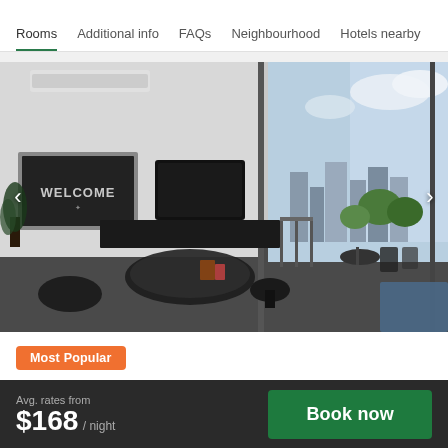Rooms | Additional info | FAQs | Neighbourhood | Hotels nearby
[Figure (photo): Interior photo of a modern one-bedroom apartment showing a living area with a Welcome chalkboard sign, flat-screen TV, round glass coffee table, and large floor-to-ceiling sliding glass doors opening to a balcony with outdoor furniture and city views]
View floorplan
Most Popular
One Bedroom Apartment
Avg. rates from $168 / night
Book now